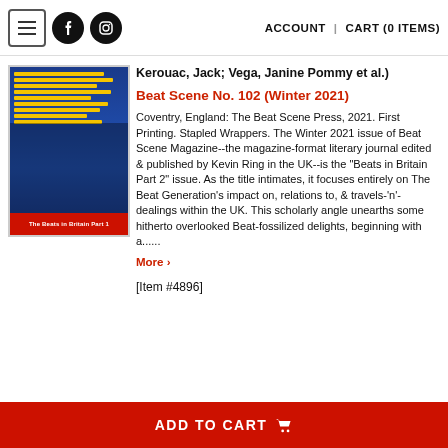ACCOUNT | CART (0 ITEMS)
[Figure (photo): Book cover of 'The Beats in Britain Part 1' - Beat Scene No. 102, showing figures on blue background with yellow text lines and red strip at bottom]
Kerouac, Jack; Vega, Janine Pommy et al.)
Beat Scene No. 102 (Winter 2021)
Coventry, England: The Beat Scene Press, 2021. First Printing. Stapled Wrappers. The Winter 2021 issue of Beat Scene Magazine--the magazine-format literary journal edited & published by Kevin Ring in the UK--is the "Beats in Britain Part 2" issue. As the title intimates, it focuses entirely on The Beat Generation's impact on, relations to, & travels-'n'-dealings within the UK. This scholarly angle unearths some hitherto overlooked Beat-fossilized delights, beginning with a......
More >
[Item #4896]